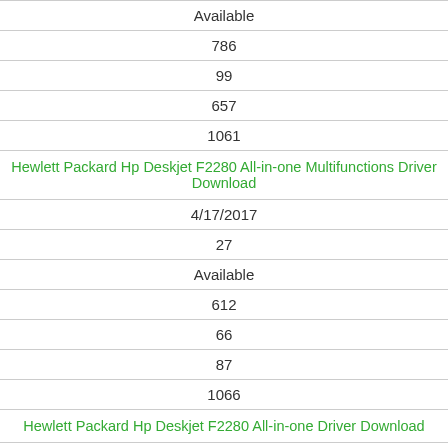| Available |
| 786 |
| 99 |
| 657 |
| 1061 |
| Hewlett Packard Hp Deskjet F2280 All-in-one Multifunctions Driver Download |
| 4/17/2017 |
| 27 |
| Available |
| 612 |
| 66 |
| 87 |
| 1066 |
| Hewlett Packard Hp Deskjet F2280 All-in-one Driver Download |
| 4/10/2017 |
| 18 |
| Available |
| 2202 |
| 10 |
| 266 |